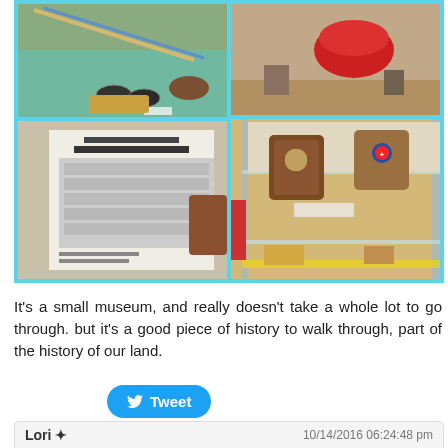[Figure (photo): A collage of 4 museum photos: top-left shows hockey sticks, pucks and artifacts on display; top-right shows a red beret/hat and other items; bottom-left shows a black and white RCAF Flyers team photo poster; bottom-right shows a glass display cabinet with shield plaques and memorabilia.]
It's a small museum, and really doesn't take a whole lot to go through. but it's a good piece of history to walk through, part of the history of our land.
Tweet
Lori ✦	10/14/2016 06:24:48 pm